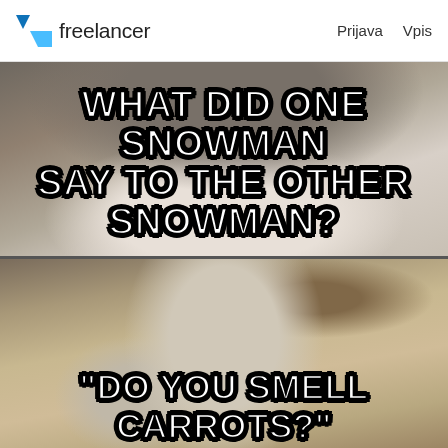freelancer   Prijava   Vpis
[Figure (photo): Meme image in three panels showing a husky dog. Top panel: husky lying on bed with bold white text 'WHAT DID ONE SNOWMAN SAY TO THE OTHER SNOWMAN?'. Middle panel: husky smiling and holding a small kitten with bold white text '"DO YOU SMELL CARROTS?"'. Bottom panel: partial view of another image.]